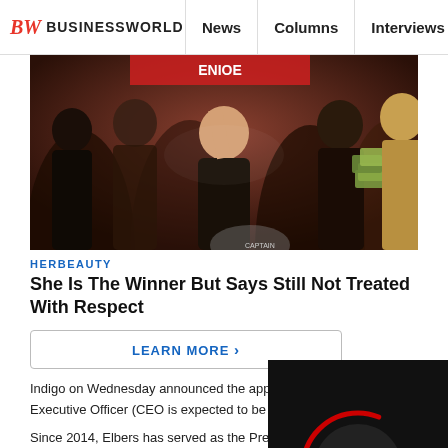BW BUSINESSWORLD | News | Columns | Interviews | BW
[Figure (photo): Group of people celebrating with stacks of money/cash, crowd scene at an event]
HERBEAUTY
She Is The Winner But Says Still Not Treated With Respect
LEARN MORE >
[Figure (screenshot): Video player overlay with play button circle, red arc, Ads by eRG label, and X close button]
Indigo on Wednesday announced the app Elbers as its Chief Executive Officer (CEO is expected to be effective from October 1
Since 2014, Elbers has served as the President & Chief